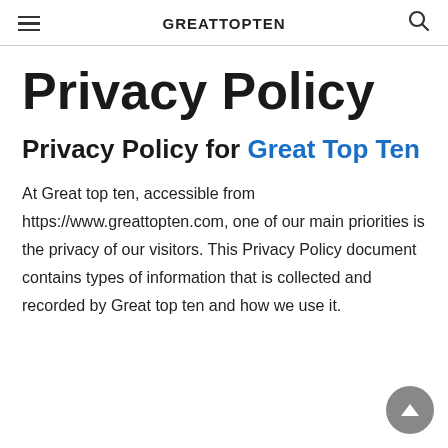GREATTOPTEN
Privacy Policy
Privacy Policy for Great Top Ten
At Great top ten, accessible from https://www.greattopten.com, one of our main priorities is the privacy of our visitors. This Privacy Policy document contains types of information that is collected and recorded by Great top ten and how we use it.